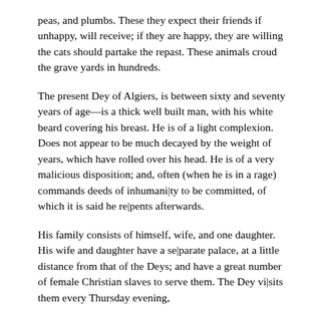peas, and plumbs. These they expect their friends if unhappy, will receive; if they are happy, they are willing the cats should partake the repast. These animals croud the grave yards in hundreds.
The present Dey of Algiers, is between sixty and seventy years of age—is a thick well built man, with his white beard covering his breast. He is of a light complexion. Does not appear to be much decayed by the weight of years, which have rolled over his head. He is of a very malicious disposition; and, often (when he is in a rage) commands deeds of inhumanity to be committed, of which it is said he repents afterwards.
His family consists of himself, wife, and one daughter. His wife and daughter have a separate palace, at a little distance from that of the Deys; and have a great number of female Christian slaves to serve them. The Dey visits them every Thursday evening,